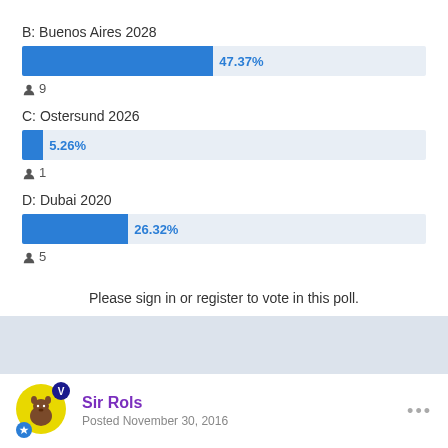[Figure (bar-chart): Poll results]
Please sign in or register to vote in this poll.
Sir Rols
Posted November 30, 2016